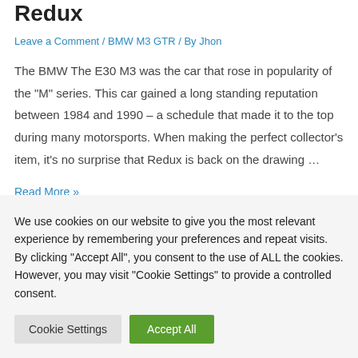Redux
Leave a Comment / BMW M3 GTR / By Jhon
The BMW The E30 M3 was the car that rose in popularity of the “M” series. This car gained a long standing reputation between 1984 and 1990 – a schedule that made it to the top during many motorsports. When making the perfect collector’s item, it’s no surprise that Redux is back on the drawing …
Read More »
We use cookies on our website to give you the most relevant experience by remembering your preferences and repeat visits. By clicking “Accept All”, you consent to the use of ALL the cookies. However, you may visit "Cookie Settings" to provide a controlled consent.